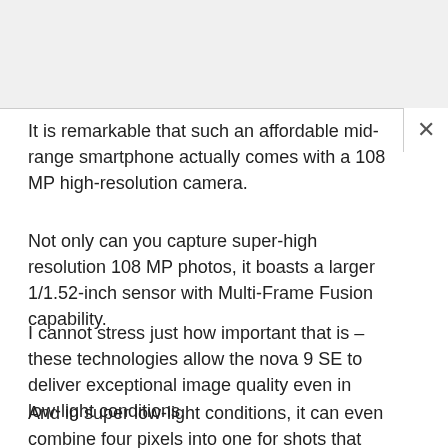It is remarkable that such an affordable mid-range smartphone actually comes with a 108 MP high-resolution camera.
Not only can you capture super-high resolution 108 MP photos, it boasts a larger 1/1.52-inch sensor with Multi-Frame Fusion capability.
I cannot stress just how important that is – these technologies allow the nova 9 SE to deliver exceptional image quality even in low-light conditions.
And in super low-light conditions, it can even combine four pixels into one for shots that would not be possible on other smartphones.